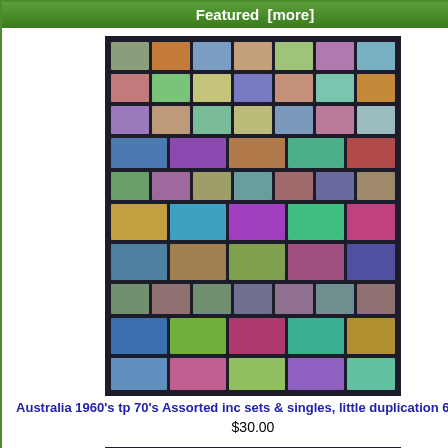Featured  [more]
[Figure (photo): Australia 1960s to 70s assorted stamps arranged in rows on dark background — sets and singles, multiple rows of colorful stamps]
Australia 1960's tp 70's Assorted inc sets & singles, little duplication 6 scans
$30.00
[Figure (photo): USA 1960s on Coil Assortment stamps — strips and pairs arranged in rows on dark background, most MUH with some plate numbers, 9 scans]
USA 1960's on Coil Assortment, strips & pairs, most MUH, some plate numbers 9 scans
$40.00
Information